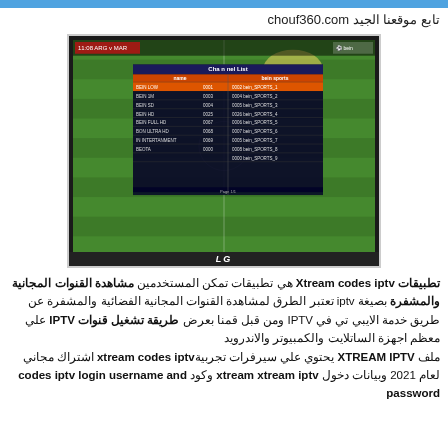تابع موقعنا الجيد chouf360.com
[Figure (photo): A television screen showing an IPTV channel list overlay on a soccer/football match. The channel list shows beIN Sports channels including BEIN LOW, BEIN 1M, BEIN SD, BEIN HD, BEIN FULL HD, BON ULTRA HD, IN ENTERTAINMENT, BEOOTA on the left panel and bein_SPORTS_1 through bein_SPORTS_9 on the right panel. The TV is an LG brand.]
تطبيقات Xtream codes iptv هي تطبيقات تمكن المستخدمين مشاهدة القنوات المجانية والمشفرة بصيغة iptv تعتبر الطرق لمشاهدة القنوات المجانية الفضائية والمشفرة عن طريق خدمة الايبي تي في IPTV ومن قبل قمنا بعرض طريقة تشغيل قنوات IPTV علي معظم اجهزة الساتلايت والكمبيوتر والاندرويد
ملف XTREAM IPTV يحتوي علي سيرفرات تجربية xtream codes iptv اشتراك مجاني لعام 2021 وبيانات دخول xtream xtream iptv وكود codes iptv login username and password